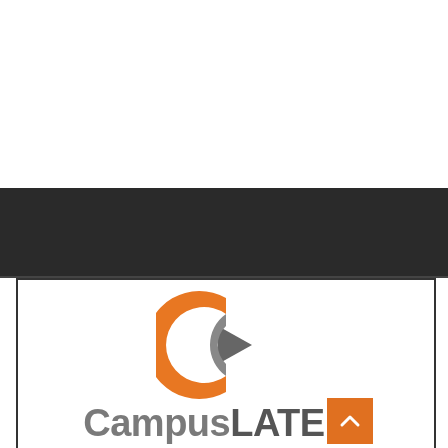[Figure (logo): CampusLATELY logo featuring an orange C-shaped arc with a grey arrow/play button inside, and the text 'CampusLATELY' in grey bold font, with an orange scroll-to-top button]